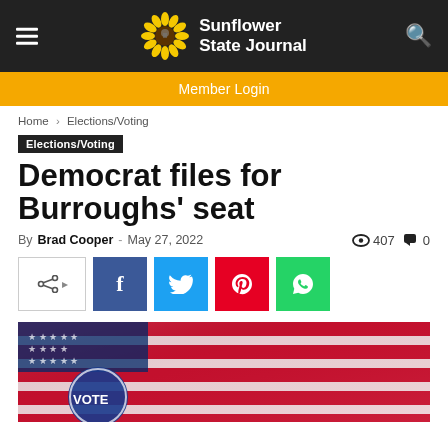Sunflower State Journal
Member Login
Home › Elections/Voting
Elections/Voting
Democrat files for Burroughs' seat
By Brad Cooper - May 27, 2022  407  0
[Figure (other): Social share buttons: share icon, Facebook, Twitter, Pinterest, WhatsApp]
[Figure (photo): Close-up photo of red, white, and blue American flag fabric with a blue campaign button/pin partially visible]